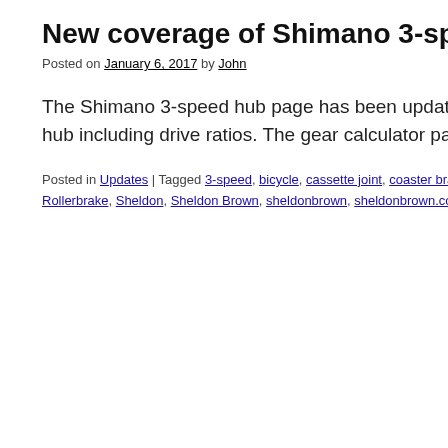New coverage of Shimano 3-speed
Posted on January 6, 2017 by John
The Shimano 3-speed hub page has been updated with coverage of the hub including drive ratios. The gear calculator pages also have b…
Posted in Updates | Tagged 3-speed, bicycle, cassette joint, coaster brake, di…, Rollerbrake, Sheldon, Sheldon Brown, sheldonbrown, sheldonbrown.com, sh…